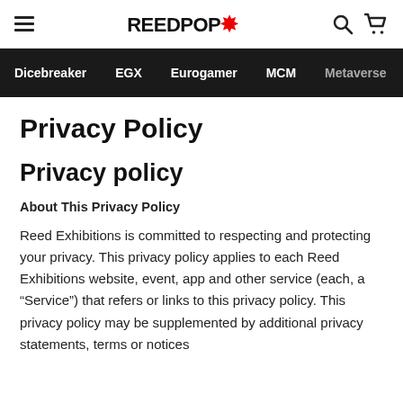REEDPOP*
Dicebreaker  EGX  Eurogamer  MCM  Metaverse
Privacy Policy
Privacy policy
About This Privacy Policy
Reed Exhibitions is committed to respecting and protecting your privacy. This privacy policy applies to each Reed Exhibitions website, event, app and other service (each, a “Service”) that refers or links to this privacy policy. This privacy policy may be supplemented by additional privacy statements, terms or notices